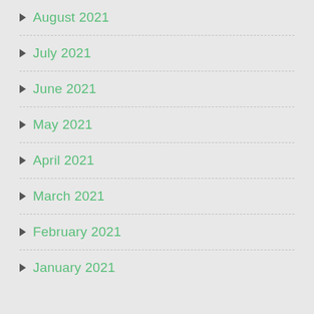August 2021
July 2021
June 2021
May 2021
April 2021
March 2021
February 2021
January 2021